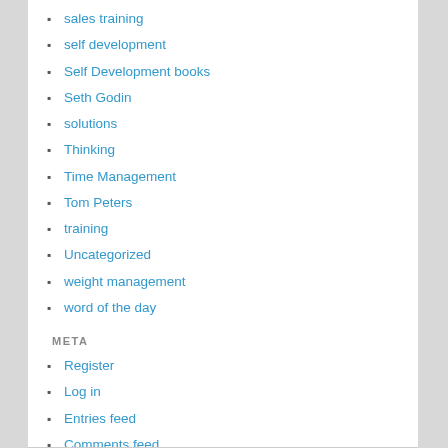sales training
self development
Self Development books
Seth Godin
solutions
Thinking
Time Management
Tom Peters
training
Uncategorized
weight management
word of the day
META
Register
Log in
Entries feed
Comments feed
WordPress.com